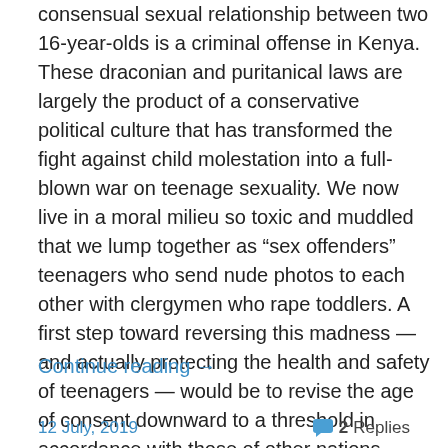consensual sexual relationship between two 16-year-olds is a criminal offense in Kenya. These draconian and puritanical laws are largely the product of a conservative political culture that has transformed the fight against child molestation into a full-blown war on teenage sexuality. We now live in a moral milieu so toxic and muddled that we lump together as “sex offenders” teenagers who send nude photos to each other with clergymen who rape toddlers. A first step toward reversing this madness — and actually protecting the health and safety of teenagers — would be to revise the age of consent downward to a threshold in accordance with those of other nations.
Continue reading →
12 July, 2019     2 Replies